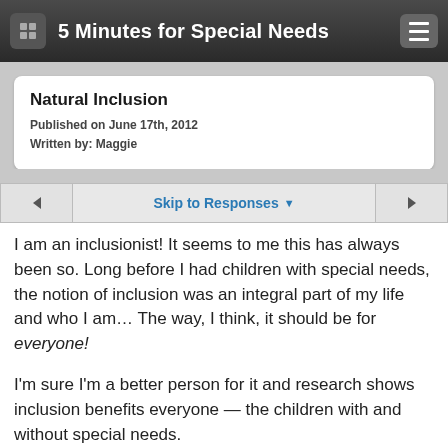5 Minutes for Special Needs
Natural Inclusion
Published on June 17th, 2012
Written by: Maggie
Skip to Responses
I am an inclusionist! It seems to me this has always been so. Long before I had children with special needs, the notion of inclusion was an integral part of my life and who I am… The way, I think, it should be for everyone!
I'm sure I'm a better person for it and research shows inclusion benefits everyone — the children with and without special needs.
You see, I grew up naturally exposed to people with disabilities though none were in my immediate family. Not a single one of these people were ever singled out as any different from the rest of us. I had a good friend, Alex Mahoney, who had Cerebral Palsy, though I didn't really know it, then. I just thought he had to